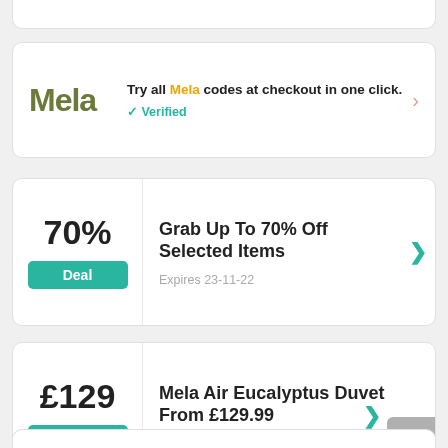[Figure (screenshot): Mela browser extension promo card: logo on left, text 'Try all Mela codes at checkout in one click.' with orange 'Mela' highlight, green checkmark 'Verified', and right arrow chevron.]
Grab Up To 70% Off Selected Items
Expires 23-11-22
Mela Air Eucalyptus Duvet From £129.99
Expires 24-10-22